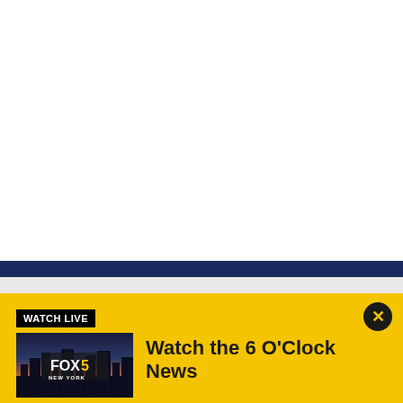[Figure (screenshot): White blank area at top of page, representing empty webpage content area]
[Figure (screenshot): Dark navy horizontal bar separator]
[Figure (screenshot): Light gray horizontal bar below navy bar]
WATCH LIVE
[Figure (screenshot): FOX 5 New York logo thumbnail showing city skyline at dusk with FOX 5 NEW YORK text overlay]
Watch the 6 O'Clock News